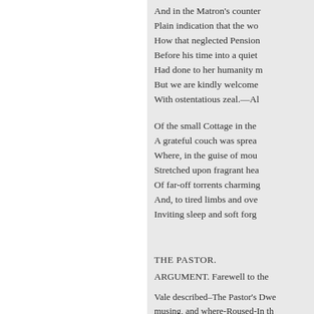And in the Matron's counter
Plain indication that the wo
How that neglected Pension
Before his time into a quiet
Had done to her humanity m
But we are kindly welcome
With ostentatious zeal.—Al
Of the small Cottage in the
A grateful couch was sprea
Where, in the guise of mou
Stretched upon fragrant hea
Of far-off torrents charming
And, to tired limbs and ove
Inviting sleep and soft forg
THE PASTOR.
ARGUMENT. Farewell to the
Vale described–The Pastor's Dwe
musing, and where-Roused-In th
passed through his mind-Lofty to
and the professions accompanyin